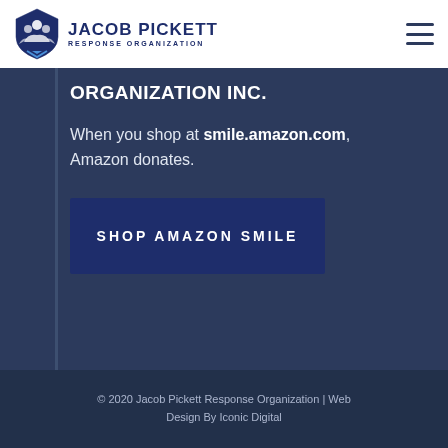JACOB PICKETT RESPONSE ORGANIZATION
ORGANIZATION INC.
When you shop at smile.amazon.com, Amazon donates.
SHOP AMAZON SMILE
© 2020 Jacob Pickett Response Organization | Web Design By Iconic Digital